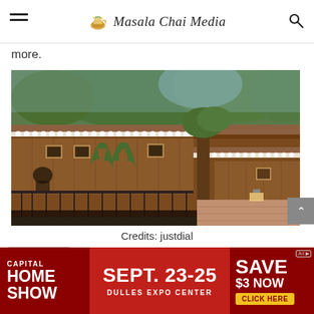Masala Chai Media
more.
[Figure (photo): Exterior view of a wooden restaurant or cafe building with terra cotta tile roof, framed artwork on walls, hanging plants, iron railing, and trees in background.]
Credits: justdial
[Figure (other): Advertisement banner: CAPITAL HOME SHOW — SEPT. 23-25 — DULLES EXPO CENTER — SAVE $3 NOW — CLICK HERE]